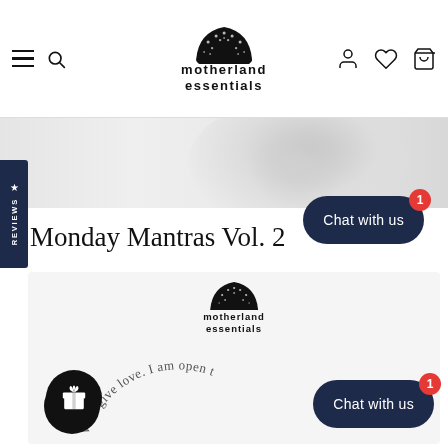[Figure (logo): Motherland Essentials logo — hedgehog/sunburst semicircle above stylized text 'motherland essentials' in bold lowercase. Shown in header nav.]
[Figure (photo): Light grey/white photographic banner image — abstract soft gradients, appears to show a fabric or surface with a light grey blob shape on the right side.]
Monday Mantras Vol. 2
[Figure (illustration): Product card showing Motherland Essentials logo at top center, a gift/present icon button on left, circular arc mantra text reading 'I give love. I am open t...' curving along the bottom, and a dark navy 'Chat with us' button with red badge showing '1' on the right.]